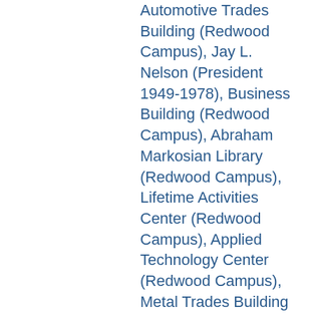Automotive Trades Building (Redwood Campus), Jay L. Nelson (President 1949-1978), Business Building (Redwood Campus), Abraham Markosian Library (Redwood Campus), Lifetime Activities Center (Redwood Campus), Applied Technology Center (Redwood Campus), Metal Trades Building (Redwood